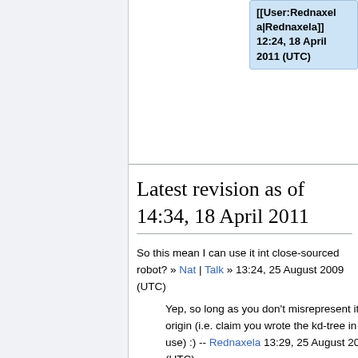[[User:Rednaxela|Rednaxela]] 12:24, 18 April 2011 (UTC)
Latest revision as of 14:34, 18 April 2011
So this mean I can use it int close-sourced robot? » Nat | Talk » 13:24, 25 August 2009 (UTC)
Yep, so long as you don't misrepresent it's origin (i.e. claim you wrote the kd-tree in use) :) -- Rednaxela 13:29, 25 August 2009 (UTC)
You used to say that it will be licensed under RWPCL and CC-BY, but I'm more happy with this though, for that I can release the code under